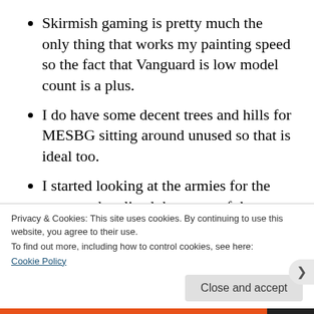Skirmish gaming is pretty much the only thing that works my painting speed so the fact that Vanguard is low model count is a plus.
I do have some decent trees and hills for MESBG sitting around unused so that is ideal too.
I started looking at the armies for the game and realized that most of them are spiritual successors to old Warhammer fantasy armies which is a big plus in my book.
While Mantic's sculpts are not as good as Games Workshop, there are some good ones
Privacy & Cookies: This site uses cookies. By continuing to use this website, you agree to their use.
To find out more, including how to control cookies, see here:
Cookie Policy